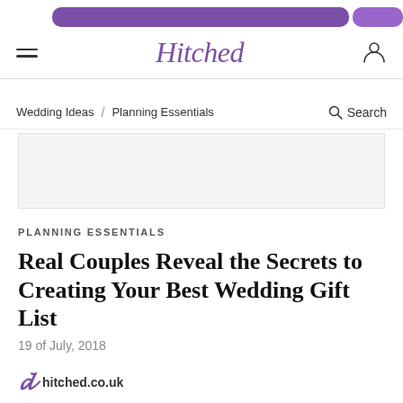[Figure (other): Top purple ad banner with rounded top corners]
Hitched
Wedding Ideas / Planning Essentials   Search
[Figure (other): Gray advertisement placeholder box]
PLANNING ESSENTIALS
Real Couples Reveal the Secrets to Creating Your Best Wedding Gift List
19 of July, 2018
hitched.co.uk